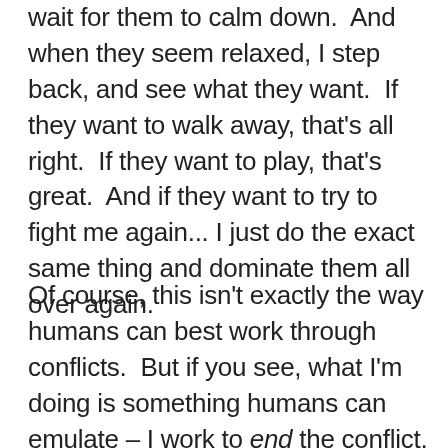wait for them to calm down.  And when they seem relaxed, I step back, and see what they want.  If they want to walk away, that's all right.  If they want to play, that's great.  And if they want to try to fight me again... I just do the exact same thing and dominate them all over again.
Of course, this isn't exactly the way humans can best work through conflicts.  But if you see, what I'm doing is something humans can emulate – I work to end the conflict, and move on